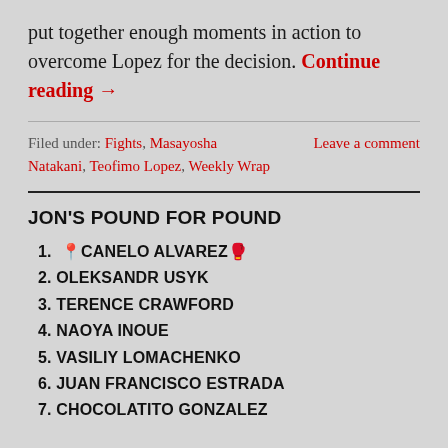put together enough moments in action to overcome Lopez for the decision. Continue reading →
Filed under: Fights, Masayosha Natakani, Teofimo Lopez, Weekly Wrap    Leave a comment
JON'S POUND FOR POUND
1. 📍 CANELO ALVAREZ 🥊
2. OLEKSANDR USYK
3. TERENCE CRAWFORD
4. NAOYA INOUE
5. VASILIY LOMACHENKO
6. JUAN FRANCISCO ESTRADA
7. CHOCOLATITO GONZALEZ